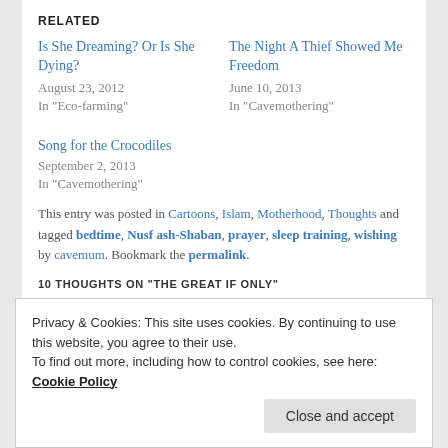RELATED
Is She Dreaming? Or Is She Dying?
August 23, 2012
In "Eco-farming"
The Night A Thief Showed Me Freedom
June 10, 2013
In "Cavemothering"
Song for the Crocodiles
September 2, 2013
In "Cavemothering"
This entry was posted in Cartoons, Islam, Motherhood, Thoughts and tagged bedtime, Nusf ash-Shaban, prayer, sleep training, wishing by cavemum. Bookmark the permalink.
10 THOUGHTS ON “THE GREAT IF ONLY”
Privacy & Cookies: This site uses cookies. By continuing to use this website, you agree to their use.
To find out more, including how to control cookies, see here: Cookie Policy
Close and accept